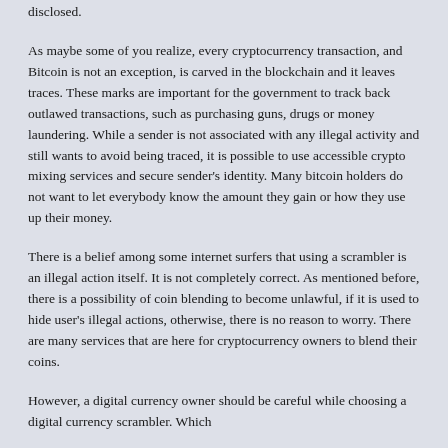disclosed.
As maybe some of you realize, every cryptocurrency transaction, and Bitcoin is not an exception, is carved in the blockchain and it leaves traces. These marks are important for the government to track back outlawed transactions, such as purchasing guns, drugs or money laundering. While a sender is not associated with any illegal activity and still wants to avoid being traced, it is possible to use accessible crypto mixing services and secure sender’s identity. Many bitcoin holders do not want to let everybody know the amount they gain or how they use up their money.
There is a belief among some internet surfers that using a scrambler is an illegal action itself. It is not completely correct. As mentioned before, there is a possibility of coin blending to become unlawful, if it is used to hide user’s illegal actions, otherwise, there is no reason to worry. There are many services that are here for cryptocurrency owners to blend their coins.
However, a digital currency owner should be careful while choosing a digital currency scrambler. Which